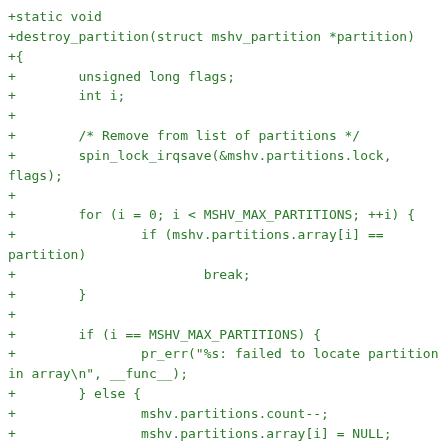+static void
+destroy_partition(struct mshv_partition *partition)
+{
+        unsigned long flags;
+        int i;
+
+        /* Remove from list of partitions */
+        spin_lock_irqsave(&mshv.partitions.lock,
flags);
+
+        for (i = 0; i < MSHV_MAX_PARTITIONS; ++i) {
+                if (mshv.partitions.array[i] ==
partition)
+                        break;
+        }
+
+        if (i == MSHV_MAX_PARTITIONS) {
+                pr_err("%s: failed to locate partition
in array\n", __func__);
+        } else {
+                mshv.partitions.count--;
+                mshv.partitions.array[i] = NULL;
+        }
+
+        spin_unlock_irqrestore(&mshv.partitions.lock,
flags);
+
+        kfree(partition);
+}
+